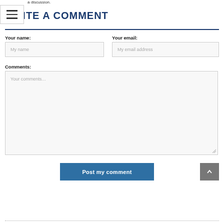a discussion.
WRITE A COMMENT
Your name:
Your email:
Comments:
Post my comment